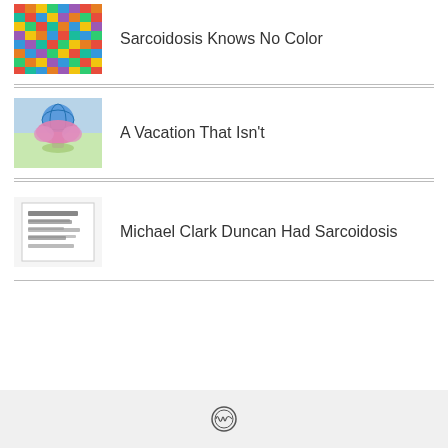Sarcoidosis Knows No Color
A Vacation That Isn't
Michael Clark Duncan Had Sarcoidosis
WordPress logo